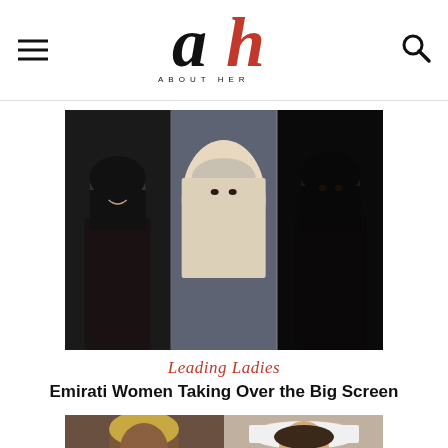About Her — logo header with hamburger menu and search icon
[Figure (photo): Collage of three Emirati women in hijabs/modest dress side-by-side]
Leading Ladies
Emirati Women Taking Over the Big Screen
[Figure (photo): Two women smiling: one with blonde hair, one wearing a white hat]